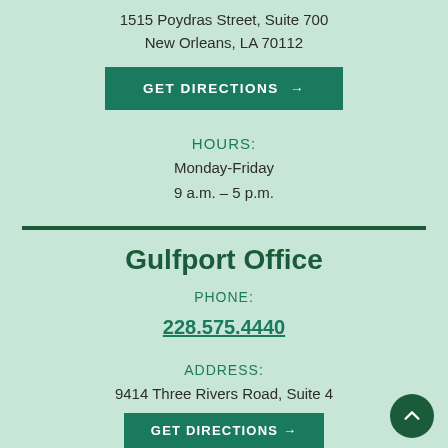1515 Poydras Street, Suite 700
New Orleans, LA 70112
GET DIRECTIONS →
HOURS:
Monday-Friday
9 a.m. – 5 p.m.
Gulfport Office
PHONE:
228.575.4440
ADDRESS:
9414 Three Rivers Road, Suite 4
Gulfport, MS 39503